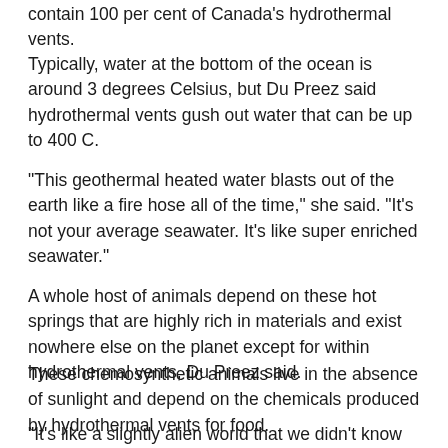contain 100 per cent of Canada's hydrothermal vents.
Typically, water at the bottom of the ocean is around 3 degrees Celsius, but Du Preez said hydrothermal vents gush out water that can be up to 400 C.
“This geothermal heated water blasts out of the earth like a fire hose all of the time,” she said. “It’s not your average seawater. It’s like super enriched seawater.”
A whole host of animals depend on these hot springs that are highly rich in materials and exist nowhere else on the planet except for within hydrothermal vents, Du Preez said.
These chemosynthetic animals live in the absence of sunlight and depend on the chemicals produced by hydrothermal vents for food.
“It’s like a slightly alien world that we didn’t know existed